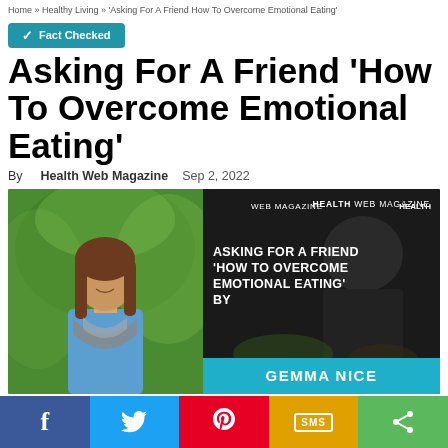Home » Healthy Living » 'Asking For A Friend How To Overcome Emotional Eating'
✓ Fact Checked
Asking For A Friend 'How To Overcome Emotional Eating'
By Health Web Magazine   Sep 2, 2022
[Figure (photo): Left side: photo of a woman with long brown hair wearing a blue top and gray scarf, smiling, outdoors with green trees. Right side: dark image of a person eating with overlay text 'ASKING FOR A FRIEND HOW TO OVERCOME EMOTIONAL EATING BY' and a cyan banner reading 'GEMMA NICE'. Top right corner reads 'HEALTH WEB MAGAZINE'.]